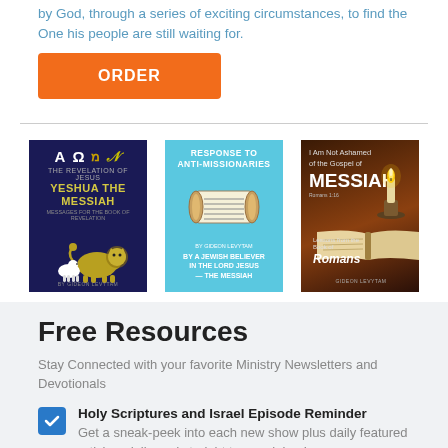by God, through a series of exciting circumstances, to find the One his people are still waiting for.
[Figure (other): Orange ORDER button]
[Figure (illustration): Three book covers: (1) AO — The Revelation of Jesus / Yeshua the Messiah with lion and lamb, dark blue; (2) Response to Anti-Missionaries by a Jewish Believer in the Lord Jesus — The Messiah, light blue with Torah scroll; (3) I Am Not Ashamed of the Gospel of Messiah — Lessons from the Book of Romans, by Gideon Levytam, dark with candle]
Free Resources
Stay Connected with your favorite Ministry Newsletters and Devotionals
Holy Scriptures and Israel Episode Reminder — Get a sneak-peek into each new show plus daily featured articles, delivered straight to your inbox!